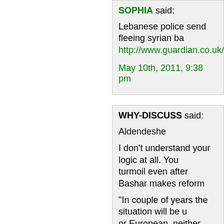SOPHIA said: Lebanese police send fleeing syrian ba... http://www.guardian.co.uk/world/2011/m... May 10th, 2011, 9:38 pm
WHY-DISCUSS said: Aldendeshe I don't understand your logic at all. You turmoil even after Bashar makes reform "In couple of years the situation will be u or European, neither Arabism will suffice drowning" But you also say before that: "Syrians a the Western/Israeli demands incessantl Since Syria and the Syrians are lost any Assad to yield to the US demands and s with no leadership, even this is for a "co May 10th, 2011, 9:44 pm
WHY-DISCUSS said: Sophia Why aren't there any journalists from Al those poor people who are being send...